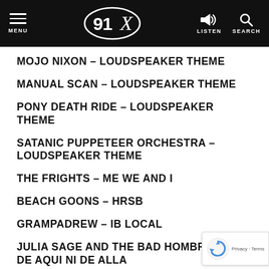91X — MENU | LISTEN | SEARCH
MOJO NIXON – LOUDSPEAKER THEME
MANUAL SCAN – LOUDSPEAKER THEME
PONY DEATH RIDE – LOUDSPEAKER THEME
SATANIC PUPPETEER ORCHESTRA – LOUDSPEAKER THEME
THE FRIGHTS – ME WE AND I
BEACH GOONS – HRSB
GRAMPADREW – IB LOCAL
JULIA SAGE AND THE BAD HOMBRES – DE AQUI NI DE ALLA